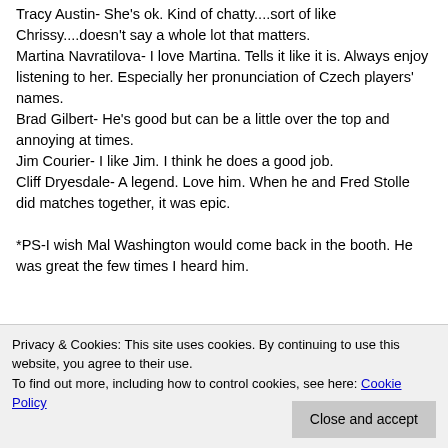Tracy Austin- She's ok. Kind of chatty....sort of like Chrissy....doesn't say a whole lot that matters.
Martina Navratilova- I love Martina. Tells it like it is. Always enjoy listening to her. Especially her pronunciation of Czech players' names.
Brad Gilbert- He's good but can be a little over the top and annoying at times.
Jim Courier- I like Jim. I think he does a good job.
Cliff Dryesdale- A legend. Love him. When he and Fred Stolle did matches together, it was epic.

*PS-I wish Mal Washington would come back in the booth. He was great the few times I heard him.
Privacy & Cookies: This site uses cookies. By continuing to use this website, you agree to their use.
To find out more, including how to control cookies, see here: Cookie Policy